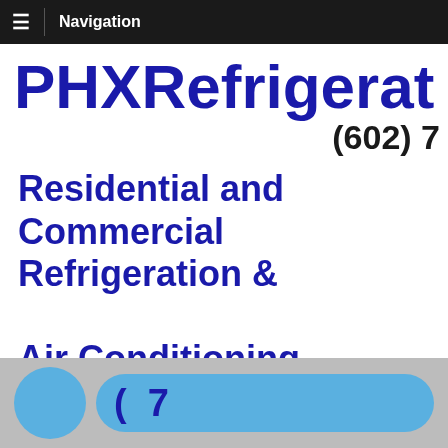Navigation
PHXRefrigerat (602) 7
Residential and Commercial Refrigeration & Air Conditioning
24 Hr Emergency Service Available
(  7